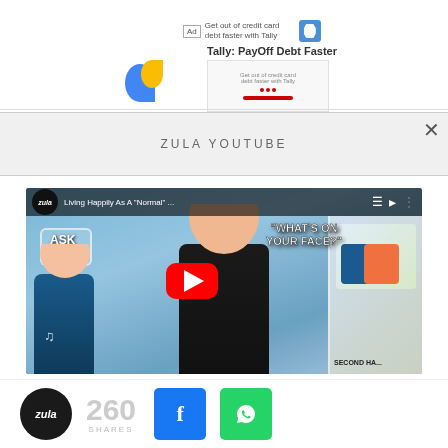[Figure (screenshot): Ad banner for Tally: PayOff Debt Faster with logo and small text]
ZULA YOUTUBE
[Figure (screenshot): YouTube video embed thumbnail showing Zula channel video titled 'Living Happily As A Normal...' with Ask Zula and What's On Your Face? text overlays, play button, and second half photo]
[Figure (screenshot): Share bar with Zula logo circle, 260 SHARES count, Facebook share button, and WhatsApp share button]